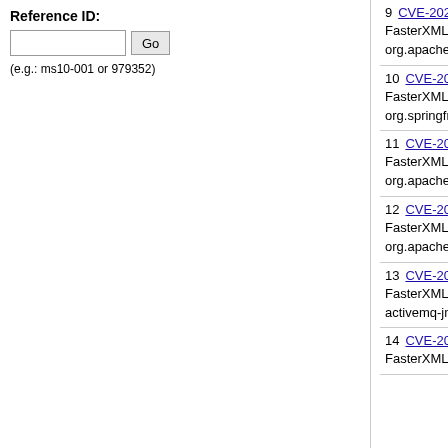Reference ID:
(e.g.: ms10-001 or 979352)
9 CVE-2020-11620 502 — FasterXML jackson-databind 2.x before 2.9.10.4 mishandles org.apache.commons.jelly.impl.Embedded (aka commons-jelly)
10 CVE-2020-11619 502 — FasterXML jackson-databind 2.x before 2.9.10.4 mishandles org.springframework.aop.config.MethodLocatingFactoryBean
11 CVE-2020-11113 502 — FasterXML jackson-databind 2.x before 2.9.10.4 mishandles org.apache.openjpa.ee.WASRegistryManagedRuntime
12 CVE-2020-11112 502 — FasterXML jackson-databind 2.x before 2.9.10.4 mishandles org.apache.commons.proxy.provider.remoting.RmiProvider
13 CVE-2020-11111 502 — FasterXML jackson-databind 2.x before 2.9.10.4 mishandles activemq-jms, activemq-core, activemq-pool, and activemq
14 CVE-2020-10969 502 — FasterXML jackson-databind 2.x before 2.9.10.4 mishandles